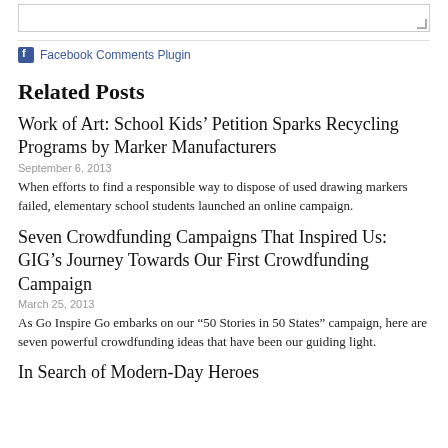[textarea box]
Facebook Comments Plugin
Related Posts
Work of Art: School Kids’ Petition Sparks Recycling Programs by Marker Manufacturers
September 6, 2013
When efforts to find a responsible way to dispose of used drawing markers failed, elementary school students launched an online campaign.
Seven Crowdfunding Campaigns That Inspired Us: GIG’s Journey Towards Our First Crowdfunding Campaign
March 25, 2013
As Go Inspire Go embarks on our “50 Stories in 50 States” campaign, here are seven powerful crowdfunding ideas that have been our guiding light.
In Search of Modern-Day Heroes